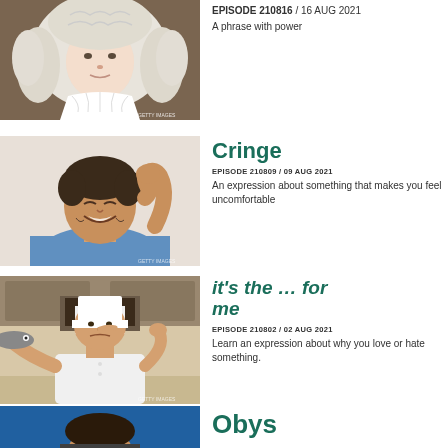[Figure (photo): Person dressed in colonial/judge wig and costume, white curly wig, white collar, holding book, GETTY IMAGES watermark]
EPISODE 210816 / 16 AUG 2021
A phrase with power
[Figure (photo): Young man with beard scratching his head and smiling/grimacing, wearing blue shirt, GETTY IMAGES watermark]
Cringe
EPISODE 210809 / 09 AUG 2021
An expression about something that makes you feel uncomfortable
[Figure (photo): Chef in white uniform holding a fish and pinching nose, kitchen background, GETTY IMAGES watermark]
it's the … for me
EPISODE 210802 / 02 AUG 2021
Learn an expression about why you love or hate something.
[Figure (photo): Person with dark hair, partial view, blue background]
Obys